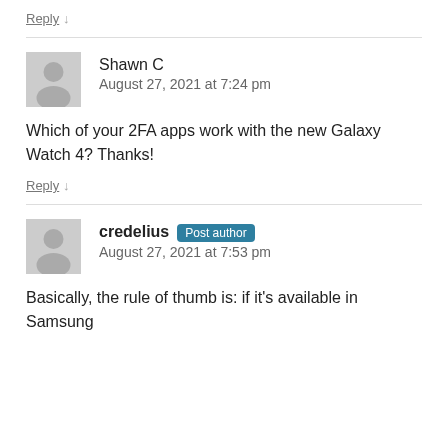Reply ↓
Shawn C
August 27, 2021 at 7:24 pm
Which of your 2FA apps work with the new Galaxy Watch 4? Thanks!
Reply ↓
credelius Post author
August 27, 2021 at 7:53 pm
Basically, the rule of thumb is: if it's available in Samsung